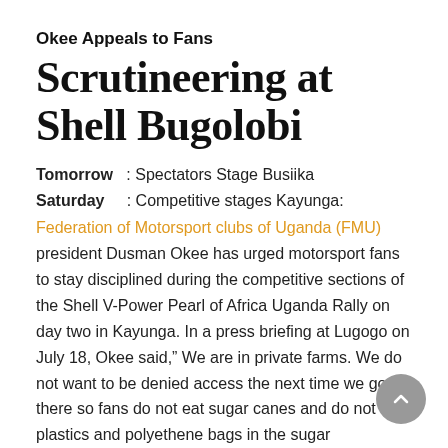Okee Appeals to Fans
Scrutineering at Shell Bugolobi
Tomorrow   : Spectators Stage Busiika
Saturday     : Competitive stages Kayunga:
Federation of Motorsport clubs of Uganda (FMU) president Dusman Okee has urged motorsport fans to stay disciplined during the competitive sections of the Shell V-Power Pearl of Africa Uganda Rally on day two in Kayunga. In a press briefing at Lugogo on July 18, Okee said,“ We are in private farms. We do not want to be denied access the next time we go there so fans do not eat sugar canes and do not litter plastics and polyethene bags in the sugar plantations.”